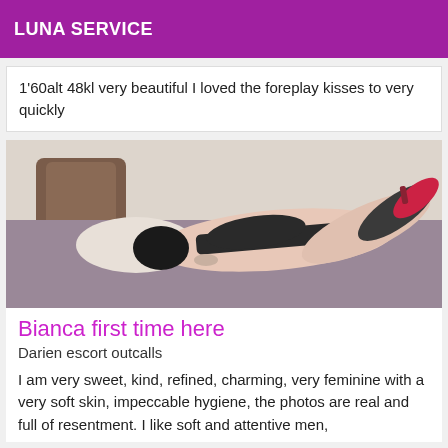LUNA SERVICE
1'60alt 48kl very beautiful I loved the foreplay kisses to very quickly
[Figure (photo): Woman lying on a bed wearing black lingerie and high heels]
Bianca first time here
Darien escort outcalls
I am very sweet, kind, refined, charming, very feminine with a very soft skin, impeccable hygiene, the photos are real and full of resentment. I like soft and attentive men,